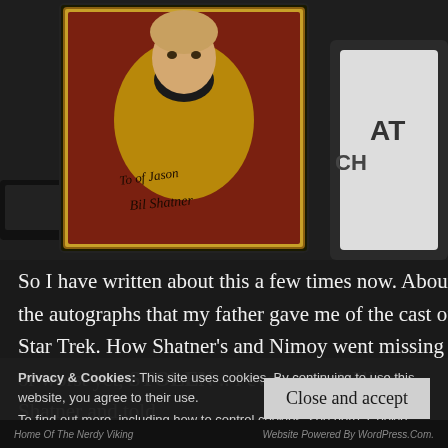[Figure (photo): A framed signed photo of William Shatner as Captain Kirk in Star Trek, wearing a gold uniform, with an autograph reading 'To Jason, Bill Shatner'. Other collectibles visible on a dark background.]
So I have written about this a few times now. About the autographs that my father gave me of the cast of Star Trek. How Shatner's and Nimoy went missing or worst yet, STOLEN .. I even meet William Shatner and told
Privacy & Cookies: This site uses cookies. By continuing to use this website, you agree to their use.
To find out more, including how to control cookies, see here: Cookie Policy
Close and accept
Home of the Nerdy Viking | Website Powered by WordPress.com.